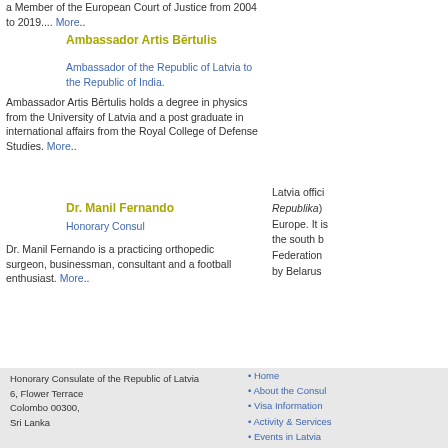a Member of the European Court of Justice from 2004 to 2019.... More..
Ambassador Artis Bērtulis
Ambassador of the Republic of Latvia to the Republic of India.
Ambassador Artis Bērtulis holds a degree in physics from the University of Latvia and a post graduate in international affairs from the Royal College of Defense Studies. More..
Dr. Manil Fernando
Honorary Consul
Dr. Manil Fernando is a practicing orthopedic surgeon, businessman, consultant and a football enthusiast. More..
Latvia offici... Republika)... Europe. It is... the south b... Federation... by Belarus...
Honorary Consulate of the Republic of Latvia
6, Flower Terrace
Colombo 00300,
Sri Lanka

Phone : +94-11-2385 660
Fax : +94-11-11 2575045
E-Mail : consulatlatvia@sltnet.lk
Home
About the Consul
Visa Information
Activity & Services
Events in Latvia
Getting to know Latvia
Press Releases
Contact Us